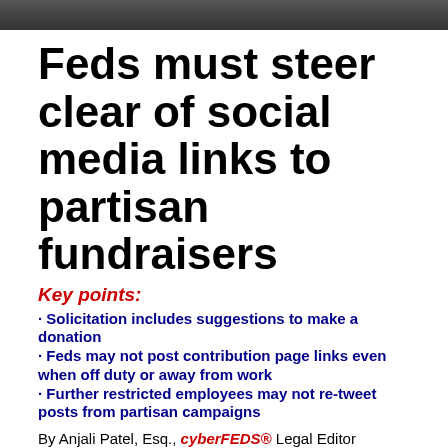[Figure (photo): Dark banner photo at top of article]
Feds must steer clear of social media links to partisan fundraisers
Key points:
Solicitation includes suggestions to make a donation
Feds may not post contribution page links even when off duty or away from work
Further restricted employees may not re-tweet posts from partisan campaigns
By Anjali Patel, Esq., cyberFEDS® Legal Editor Washington Bureau
DID YOU KNOW? To avoid inadvertent Hatch Act violations, all federal employees must think twice before using social media to ensure they are not promoting a partisan political fundraiser.
The Hatch Act prohibits both further and less restricted federal employees from soliciting, accepting, or receiving political contributions. The prohibition also encompasses less direct ways of asking for political contributions, such as suggesting someone make a